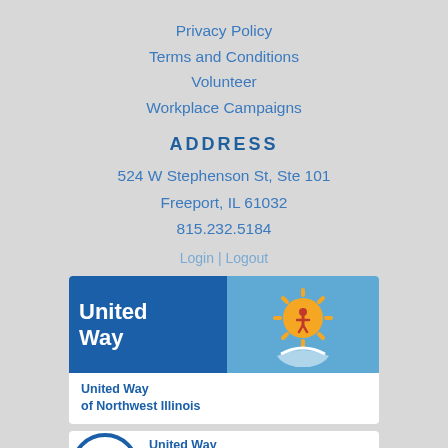Privacy Policy
Terms and Conditions
Volunteer
Workplace Campaigns
ADDRESS
524 W Stephenson St, Ste 101
Freeport, IL 61032
815.232.5184
Login | Logout
[Figure (logo): United Way of Northwest Illinois logo — blue rectangle with 'United Way' text in white, adjacent teal box with orange sun rays and red figure above a hand. Below: United Way of Northwest Illinois in blue text.]
[Figure (logo): United Way 2022 Membership Requirements logo — blue circle with thumbs up icon, United Way text and '2022 Membership Requirements' in orange/blue text.]